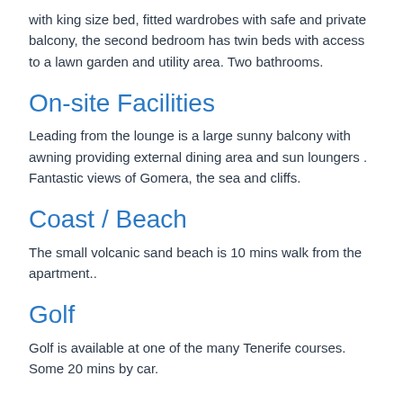with king size bed, fitted wardrobes with safe and private balcony, the second bedroom has twin beds with access to a lawn garden and utility area. Two bathrooms.
On-site Facilities
Leading from the lounge is a large sunny balcony with awning providing external dining area and sun loungers . Fantastic views of Gomera, the sea and cliffs.
Coast / Beach
The small volcanic sand beach is 10 mins walk from the apartment..
Golf
Golf is available at one of the many Tenerife courses. Some 20 mins by car.